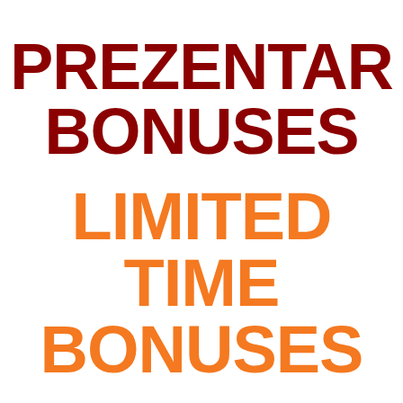PREZENTAR BONUSES
LIMITED TIME BONUSES